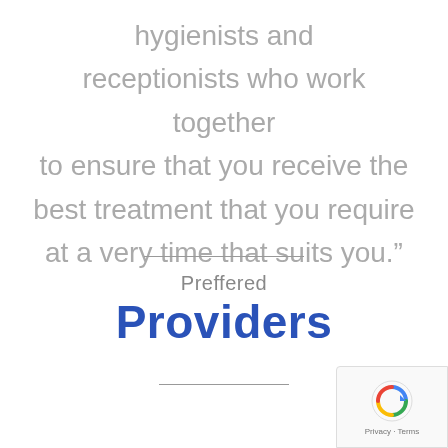hygienists and receptionists who work together to ensure that you receive the best treatment that you require at a very time that suits you.”
Preffered
Providers